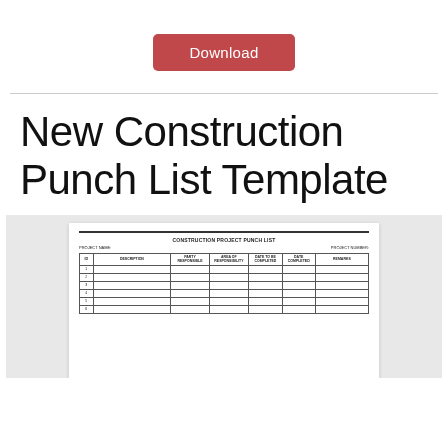[Figure (other): Red Download button]
New Construction Punch List Template
[Figure (other): Preview thumbnail of a Construction Project Punch List form showing a table with columns: ID, Description, Party Responsible, Date Completed, Date Completed, Remarks]